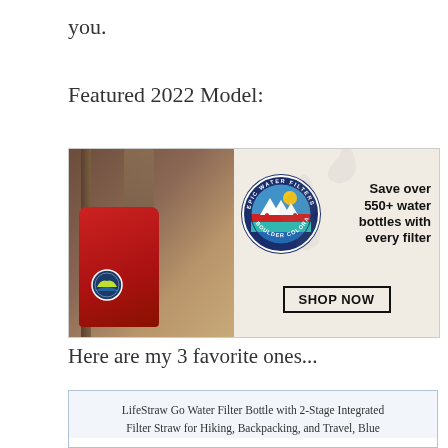you.
Featured 2022 Model:
[Figure (photo): Epic Water Filters advertisement showing a hiker wearing a red backpack on the left, with the Epic Water Filters circular logo (Boulder Colorado), text 'Save over 550+ water bottles with every filter', and a 'SHOP NOW' button on the right side.]
Here are my 3 favorite ones...
LifeStraw Go Water Filter Bottle with 2-Stage Integrated Filter Straw for Hiking, Backpacking, and Travel, Blue